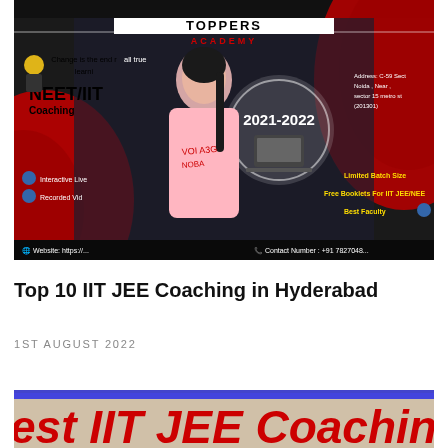[Figure (screenshot): Video thumbnail showing a young woman in a pink t-shirt speaking in front of a Toppers Academy promotional banner for NEET/IIT Coaching 2021-2022. The banner shows features like Interactive Live classes, Recorded Videos, Limited Batch Size, Free Booklets For IIT JEE/NEET, Best Faculty, website and contact number.]
Top 10 IIT JEE Coaching in Hyderabad
1ST AUGUST 2022
[Figure (screenshot): Partial banner image showing text 'est IIT JEE Coaching in Mumb' in red bold italic font on a light background with blue top border stripe.]